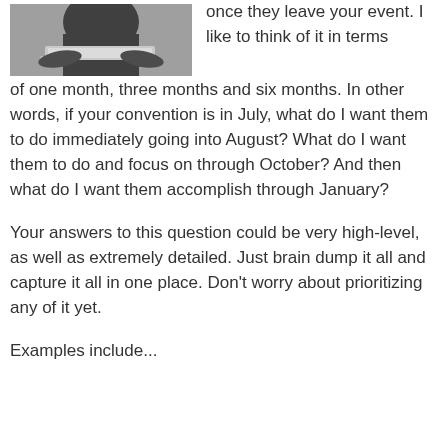[Figure (photo): Person working at a laptop computer, dark clothing, viewed from above/side angle]
once they leave your event. I like to think of it in terms of one month, three months and six months. In other words, if your convention is in July, what do I want them to do immediately going into August? What do I want them to do and focus on through October? And then what do I want them accomplish through January?
Your answers to this question could be very high-level, as well as extremely detailed. Just brain dump it all and capture it all in one place. Don't worry about prioritizing any of it yet.
Examples include...